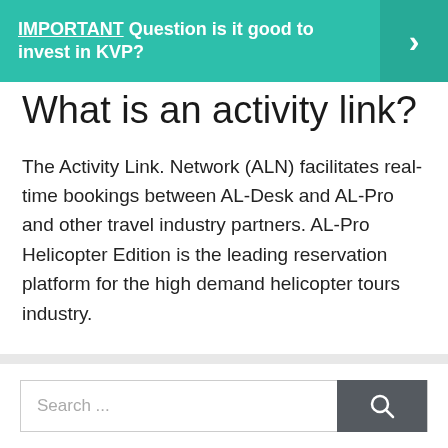[Figure (infographic): Teal/green banner with bold text: IMPORTANT Question is it good to invest in KVP? with a right-arrow chevron on the right side]
What is an activity link?
The Activity Link. Network (ALN) facilitates real-time bookings between AL-Desk and AL-Pro and other travel industry partners. AL-Pro Helicopter Edition is the leading reservation platform for the high demand helicopter tours industry.
Forex
Search ...